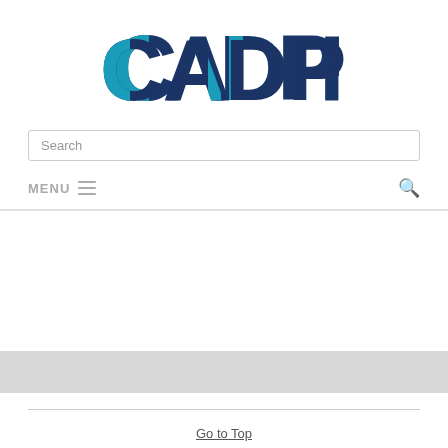[Figure (logo): CADPRO logo in teal and dark navy blue block letters]
Search
MENU ≡
Go to Top
Copyright © 2022 CADPRO Systems Limited